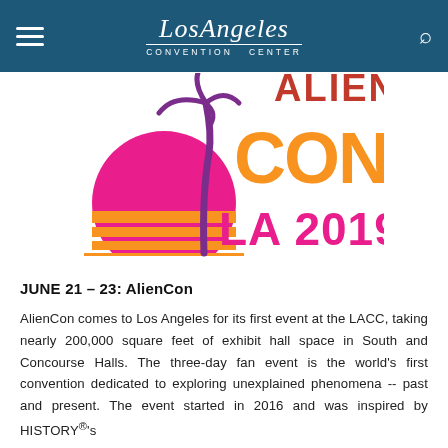Los Angeles Convention Center
[Figure (logo): AlienCon LA 2019 event logo — features pink/orange sunset graphic with purple palm tree silhouette, large orange 'CON' lettering, and magenta 'LA 2019' text, with partial red/orange text above]
JUNE 21 – 23: AlienCon
AlienCon comes to Los Angeles for its first event at the LACC, taking nearly 200,000 square feet of exhibit hall space in South and Concourse Halls. The three-day fan event is the world's first convention dedicated to exploring unexplained phenomena -- past and present. The event started in 2016 and was inspired by HISTORY®'s